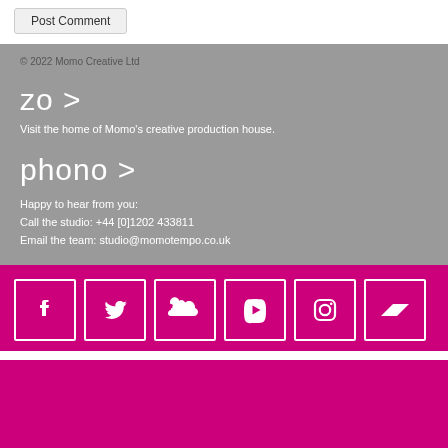Post Comment
© 2022 Momo Creative Ltd
zo >
Visit the home of Momo's creative production house.
phono >
Happy to hear from you:
Call the studio: +44 [0]1202 433811
Email the team: studio@momotempo.co.uk
[Figure (infographic): Six social media icons (Facebook, Twitter, SoundCloud, YouTube, Instagram, Bandcamp) displayed as white icons in magenta square boxes on a magenta background.]